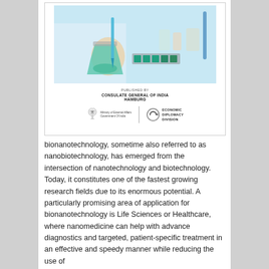[Figure (photo): Cover page of a publication by the Consulate General of India, Hamburg. Shows a laboratory photo with a hand holding a beaker with green liquid and a pipette. Below the image: 'PUBLISHED BY / CONSULATE GENERAL OF INDIA / HAMBURG'. Bottom logos: India government emblem with 'Ministry of External Affairs, Government Of India' and a circular arrow logo with 'ECONOMIC DIPLOMACY DIVISION'.]
bionanotechnology, sometime also referred to as nanobiotechnology, has emerged from the intersection of nanotechnology and biotechnology. Today, it constitutes one of the fastest growing research fields due to its enormous potential. A particularly promising area of application for bionanotechnology is Life Sciences or Healthcare, where nanomedicine can help with advance diagnostics and targeted, patient-specific treatment in an effective and speedy manner while reducing the use of